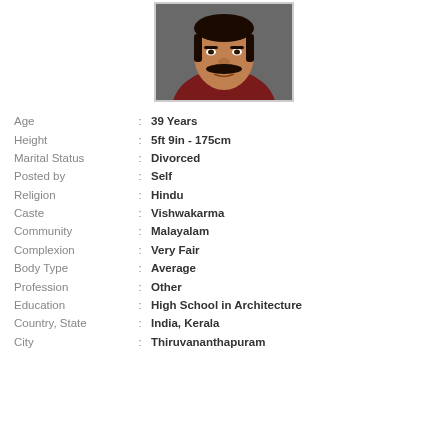[Figure (photo): Profile photo of a man with mustache wearing a dark red/maroon shirt, close-up face shot]
| Age | : | 39 Years |
| Height | : | 5ft 9in - 175cm |
| Marital Status | : | Divorced |
| Posted by | : | Self |
| Religion | : | Hindu |
| Caste | : | Vishwakarma |
| Community | : | Malayalam |
| Complexion | : | Very Fair |
| Body Type | : | Average |
| Profession | : | Other |
| Education | : | High School in Architecture |
| Country, State | : | India, Kerala |
| City | : | Thiruvananthapuram |